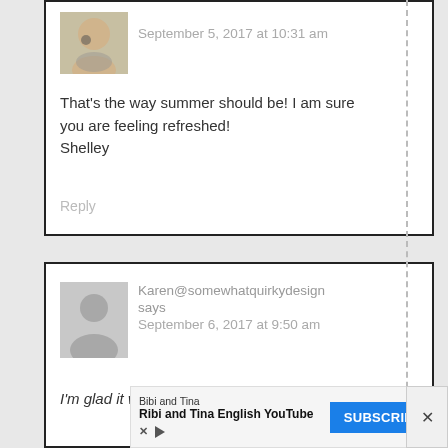[Figure (photo): User avatar photo showing a person with a dog]
September 5, 2017 at 10:31 am
That's the way summer should be! I am sure you are feeling refreshed!
Shelley
Reply
[Figure (illustration): Generic user avatar silhouette placeholder in grey]
Karen@somewhatquirkydesign says
September 6, 2017 at 9:50 am
I'm glad it was wonderful.
[Figure (screenshot): Advertisement banner for Bibi and Tina English YouTube channel with Subscribe button]